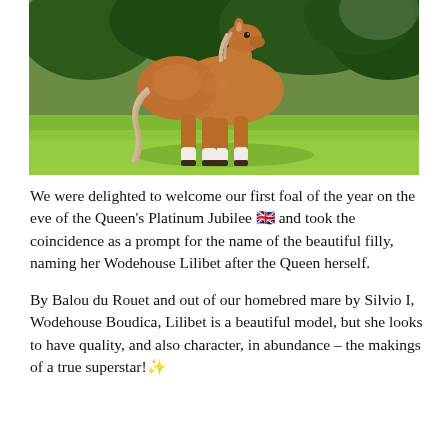[Figure (photo): A young chestnut foal with white socks standing on green grass, viewed from behind/side, with green trees in background.]
We were delighted to welcome our first foal of the year on the eve of the Queen's Platinum Jubilee 🇬🇧 and took the coincidence as a prompt for the name of the beautiful filly, naming her Wodehouse Lilibet after the Queen herself.
By Balou du Rouet and out of our homebred mare by Silvio I, Wodehouse Boudica, Lilibet is a beautiful model, but she looks to have quality, and also character, in abundance – the makings of a true superstar!✨